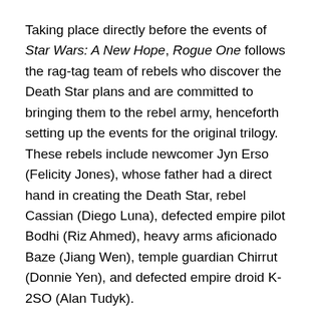Taking place directly before the events of Star Wars: A New Hope, Rogue One follows the rag-tag team of rebels who discover the Death Star plans and are committed to bringing them to the rebel army, henceforth setting up the events for the original trilogy. These rebels include newcomer Jyn Erso (Felicity Jones), whose father had a direct hand in creating the Death Star, rebel Cassian (Diego Luna), defected empire pilot Bodhi (Riz Ahmed), heavy arms aficionado Baze (Jiang Wen), temple guardian Chirrut (Donnie Yen), and defected empire droid K-2SO (Alan Tudyk).
This team of misfits are expected to go up against the empire, Darth Vader himself, and commander Orson Krennic (Ben Mendelsohn) to steal the Death Star plans and send them on a rendezvous mission to the rebel army.